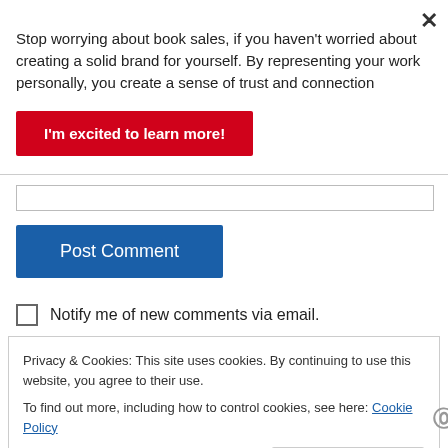Stop worrying about book sales, if you haven't worried about creating a solid brand for yourself. By representing your work personally, you create a sense of trust and connection
I'm excited to learn more!
Post Comment
Notify me of new comments via email.
Privacy & Cookies: This site uses cookies. By continuing to use this website, you agree to their use.
To find out more, including how to control cookies, see here: Cookie Policy
Close and accept